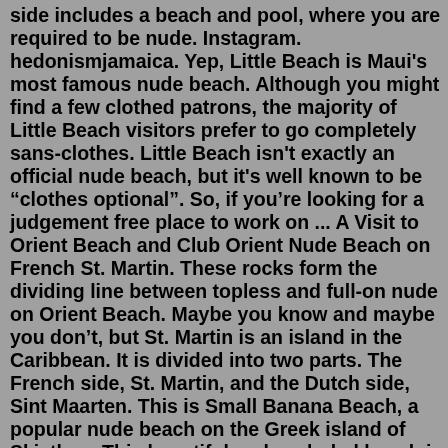side includes a beach and pool, where you are required to be nude. Instagram. hedonismjamaica. Yep, Little Beach is Maui's most famous nude beach. Although you might find a few clothed patrons, the majority of Little Beach visitors prefer to go completely sans-clothes. Little Beach isn't exactly an official nude beach, but it's well known to be "clothes optional". So, if you're looking for a judgement free place to work on ... A Visit to Orient Beach and Club Orient Nude Beach on French St. Martin. These rocks form the dividing line between topless and full-on nude on Orient Beach. Maybe you know and maybe you don't, but St. Martin is an island in the Caribbean. It is divided into two parts. The French side, St. Martin, and the Dutch side, Sint Maarten. This is Small Banana Beach, a popular nude beach on the Greek island of Skiathos. This beautiful and secluded beach is located right next to the neighboring Big Banana Beach. The two beaches are seperated by a small rocky outcrop. Naturism is still